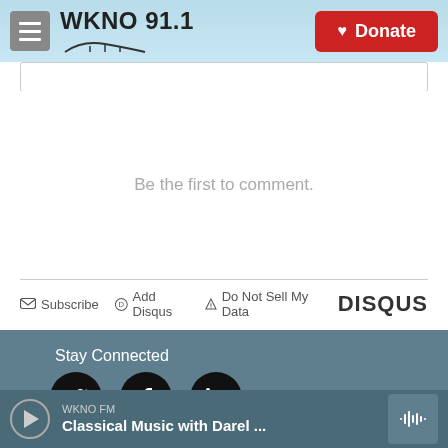WKNO 91.1 — Donate
Be the first to comment.
Subscribe  Add Disqus  Do Not Sell My Data  DISQUS
Stay Connected
[Figure (infographic): Social media icons: Twitter, Facebook, LinkedIn — circular black buttons]
WKNO FM
Classical Music with Darel ...